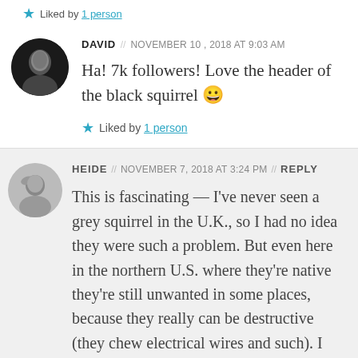Liked by 1 person
DAVID // NOVEMBER 10, 2018 AT 9:03 AM
Ha! 7k followers! Love the header of the black squirrel 😀
Liked by 1 person
HEIDE // NOVEMBER 7, 2018 AT 3:24 PM // REPLY
This is fascinating — I've never seen a grey squirrel in the U.K., so I had no idea they were such a problem. But even here in the northern U.S. where they're native they're still unwanted in some places, because they really can be destructive (they chew electrical wires and such). I think they're